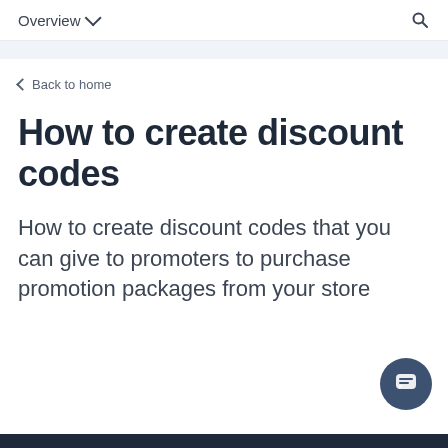Overview
Back to home
How to create discount codes
How to create discount codes that you can give to promoters to purchase promotion packages from your store